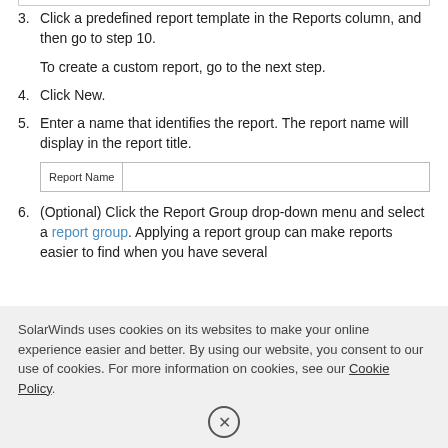3. Click a predefined report template in the Reports column, and then go to step 10.
To create a custom report, go to the next step.
4. Click New.
5. Enter a name that identifies the report. The report name will display in the report title.
[Figure (screenshot): Report Name input field form row with label and empty text box]
6. (Optional) Click the Report Group drop-down menu and select a report group. Applying a report group can make reports easier to find when you have several
SolarWinds uses cookies on its websites to make your online experience easier and better. By using our website, you consent to our use of cookies. For more information on cookies, see our Cookie Policy.